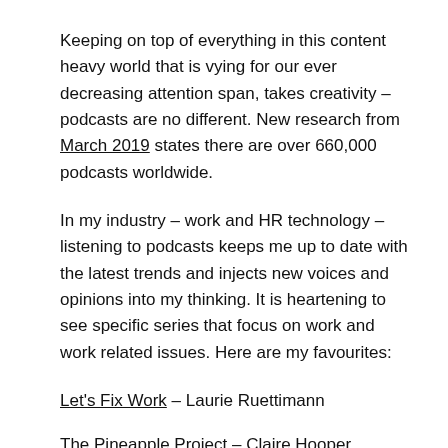Keeping on top of everything in this content heavy world that is vying for our ever decreasing attention span, takes creativity – podcasts are no different. New research from March 2019 states there are over 660,000 podcasts worldwide.
In my industry – work and HR technology – listening to podcasts keeps me up to date with the latest trends and injects new voices and opinions into my thinking. It is heartening to see specific series that focus on work and work related issues. Here are my favourites:
Let's Fix Work – Laurie Ruettimann
The Pineapple Project – Claire Hooper
This Working Life – ABC RN (Australia)